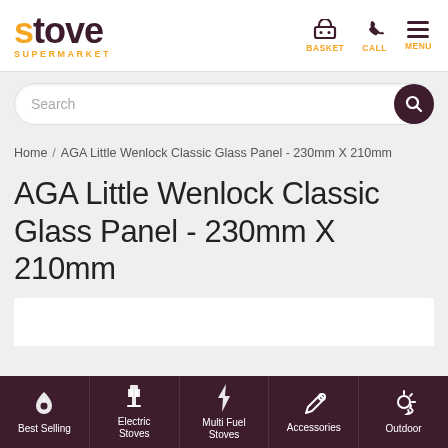stove SUPERMARKET — BASKET CALL MENU
Search
Home / AGA Little Wenlock Classic Glass Panel - 230mm X 210mm
AGA Little Wenlock Classic Glass Panel - 230mm X 210mm
Best Selling | Electric Stoves | Multi Fuel Stoves | Accessories | Outdoor